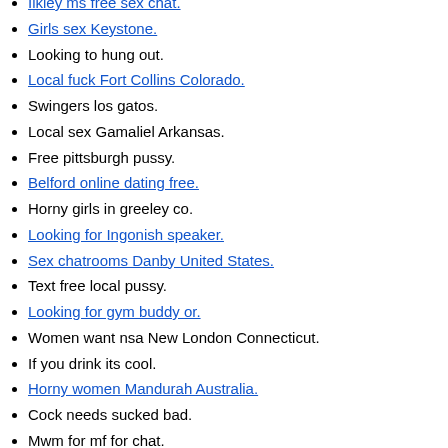Ilkley ms free sex chat.
Girls sex Keystone.
Looking to hung out.
Local fuck Fort Collins Colorado.
Swingers los gatos.
Local sex Gamaliel Arkansas.
Free pittsburgh pussy.
Belford online dating free.
Horny girls in greeley co.
Looking for Ingonish speaker.
Sex chatrooms Danby United States.
Text free local pussy.
Looking for gym buddy or.
Women want nsa New London Connecticut.
If you drink its cool.
Horny women Mandurah Australia.
Cock needs sucked bad.
Mwm for mf for chat.
Free pussy San francisco.
Ts personals Phum Sre Treng.
Sex wanting women in Grand Forks.
Women who want to fuck in Nampa.
Hot housewives want sex Orange.
Swingers Personals in Bay springs.
Milf dating in Geneva.
Relationships with MWM wanting serious and...